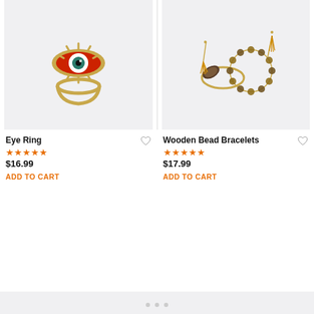[Figure (photo): Eye Ring product photo: gold evil eye ring with red enamel and teal center gem, on light gray background]
Eye Ring
★★★★★
$16.99
ADD TO CART
[Figure (photo): Wooden Bead Bracelets product photo: two bracelets with gold tassel accents and wooden beads, on light gray background]
Wooden Bead Bracelets
★★★★★
$17.99
ADD TO CART